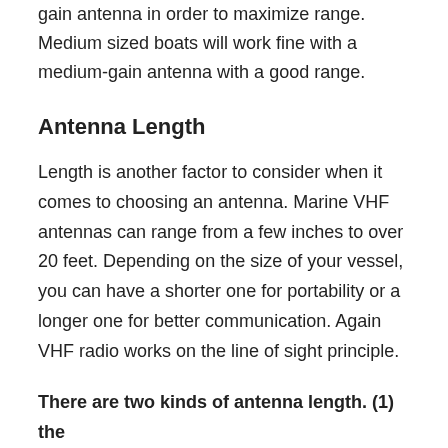gain antenna in order to maximize range. Medium sized boats will work fine with a medium-gain antenna with a good range.
Antenna Length
Length is another factor to consider when it comes to choosing an antenna. Marine VHF antennas can range from a few inches to over 20 feet. Depending on the size of your vessel, you can have a shorter one for portability or a longer one for better communication. Again VHF radio works on the line of sight principle.
There are two kinds of antenna length. (1) the